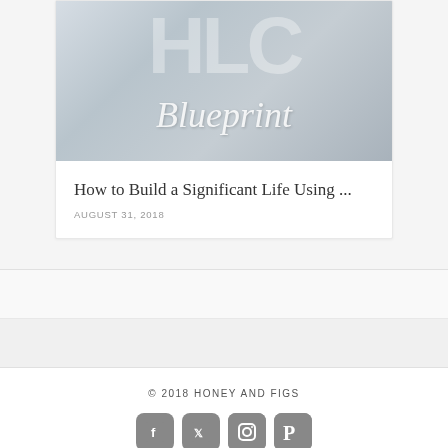[Figure (photo): Blog post card with workshop/office photo background. Overlaid text shows large decorative letters 'HLC' and script word 'Blueprint' over a muted gray-blue photographic background showing a workspace with wooden tables and a person seated.]
How to Build a Significant Life Using ...
AUGUST 31, 2018
© 2018 HONEY AND FIGS
PRIVACY   DISCLAIMER   TERMS AND CONDITIONS